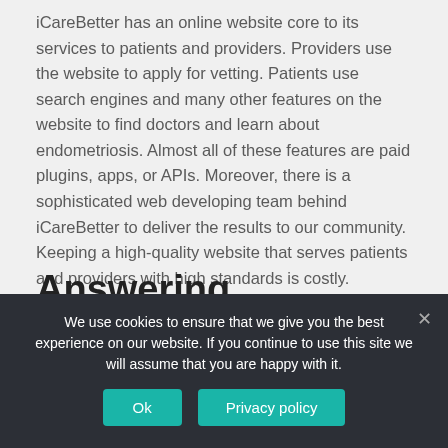iCareBetter has an online website core to its services to patients and providers. Providers use the website to apply for vetting. Patients use search engines and many other features on the website to find doctors and learn about endometriosis. Almost all of these features are paid plugins, apps, or APIs. Moreover, there is a sophisticated web developing team behind iCareBetter to deliver the results to our community. Keeping a high-quality website that serves patients and providers with high standards is costly.
Answering questions from patients and providers
We use cookies to ensure that we give you the best experience on our website. If you continue to use this site we will assume that you are happy with it.